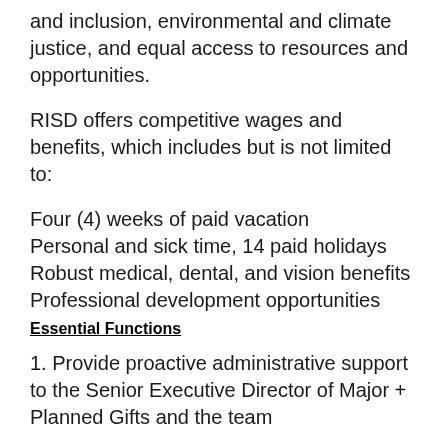and inclusion, environmental and climate justice, and equal access to resources and opportunities.
RISD offers competitive wages and benefits, which includes but is not limited to:
Four (4) weeks of paid vacation
Personal and sick time, 14 paid holidays
Robust medical, dental, and vision benefits
Professional development opportunities
Essential Functions
1. Provide proactive administrative support to the Senior Executive Director of Major + Planned Gifts and the team